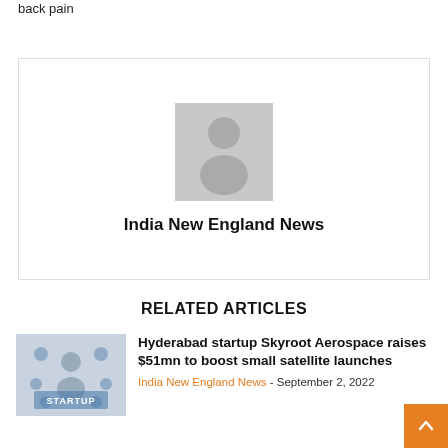back pain
[Figure (other): Author avatar placeholder card with person silhouette icon and name 'India New England News']
India New England News
RELATED ARTICLES
[Figure (photo): Startup themed image showing a person holding icons including 'STARTUP' text]
Hyderabad startup Skyroot Aerospace raises $51mn to boost small satellite launches
India New England News - September 2, 2022